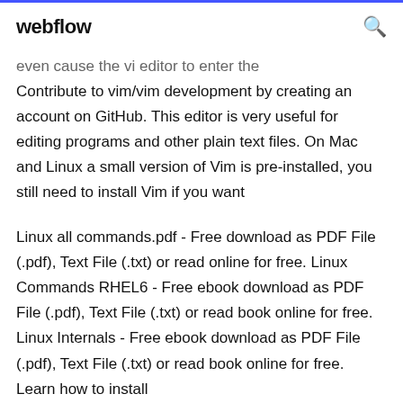webflow
even cause the vi editor to enter the
Contribute to vim/vim development by creating an account on GitHub. This editor is very useful for editing programs and other plain text files. On Mac and Linux a small version of Vim is pre-installed, you still need to install Vim if you want
Linux all commands.pdf - Free download as PDF File (.pdf), Text File (.txt) or read online for free. Linux Commands RHEL6 - Free ebook download as PDF File (.pdf), Text File (.txt) or read book online for free. Linux Internals - Free ebook download as PDF File (.pdf), Text File (.txt) or read book online for free. Learn how to install